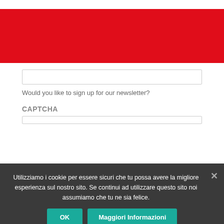[Figure (other): Red banner/header area at the top of the page]
Privacy *
[Figure (other): Text input field for privacy checkbox]
I agree to the terms and conditions of the privacy - Read the Privacy Policy
[Figure (other): Text input field for newsletter signup]
Would you like to sign up for our newsletter?
CAPTCHA
[Figure (other): CAPTCHA input field (partially visible)]
Utilizziamo i cookie per essere sicuri che tu possa avere la migliore esperienza sul nostro sito. Se continui ad utilizzare questo sito noi assumiamo che tu ne sia felice.